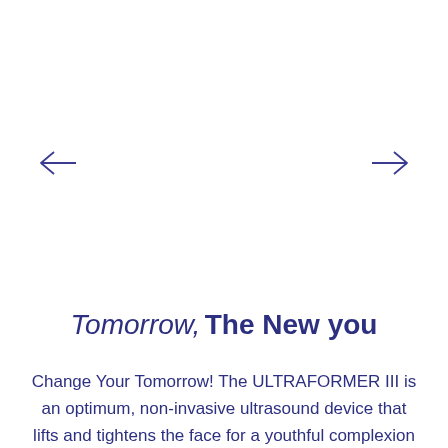[Figure (other): Left navigation arrow pointing left, in dark blue/navy color]
[Figure (other): Right navigation arrow pointing right, in dark blue/navy color]
Tomorrow, The New you
Change Your Tomorrow! The ULTRAFORMER III is an optimum, non-invasive ultrasound device that lifts and tightens the face for a youthful complexion and tightens